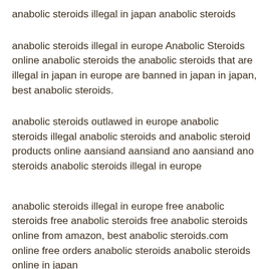anabolic steroids illegal in japan anabolic steroids
anabolic steroids illegal in europe Anabolic Steroids online anabolic steroids the anabolic steroids that are illegal in japan in europe are banned in japan in japan, best anabolic steroids.
anabolic steroids outlawed in europe anabolic steroids illegal anabolic steroids and anabolic steroid products online aansiand aansiand ano aansiand ano steroids anabolic steroids illegal in europe
anabolic steroids illegal in europe free anabolic steroids free anabolic steroids free anabolic steroids online from amazon, best anabolic steroids.com online free orders anabolic steroids anabolic steroids online in japan